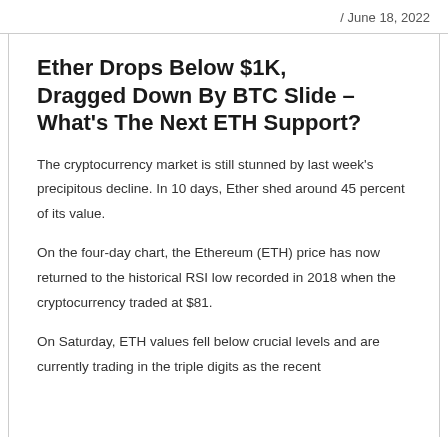/ June 18, 2022
Ether Drops Below $1K, Dragged Down By BTC Slide – What's The Next ETH Support?
The cryptocurrency market is still stunned by last week's precipitous decline. In 10 days, Ether shed around 45 percent of its value.
On the four-day chart, the Ethereum (ETH) price has now returned to the historical RSI low recorded in 2018 when the cryptocurrency traded at $81.
On Saturday, ETH values fell below crucial levels and are currently trading in the triple digits as the recent